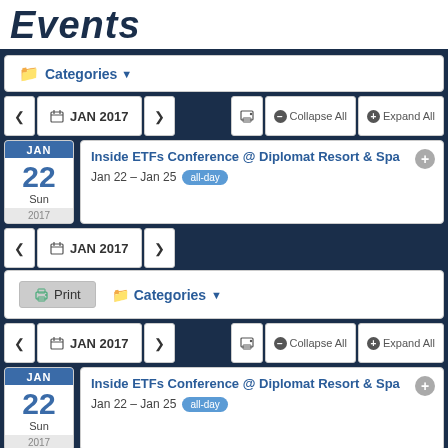Events
Categories
JAN 2017 < >  Collapse All  Expand All
Inside ETFs Conference @ Diplomat Resort & Spa
Jan 22 – Jan 25  all-day
JAN 2017 < >
Print  Categories
JAN 2017 < >  Collapse All  Expand All
Inside ETFs Conference @ Diplomat Resort & Spa
Jan 22 – Jan 25  all-day
JAN 2017 < >